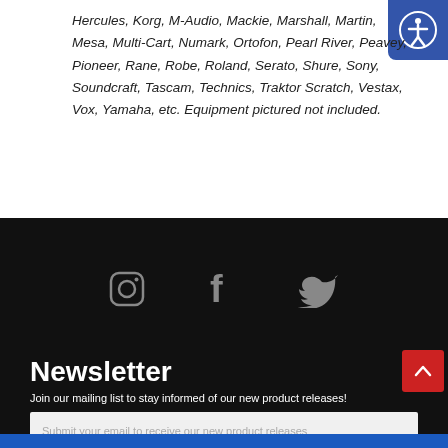Hercules, Korg, M-Audio, Mackie, Marshall, Martin, Mesa, Multi-Cart, Numark, Ortofon, Pearl River, Peavey, Pioneer, Rane, Robe, Roland, Serato, Shure, Sony, Soundcraft, Tascam, Technics, Traktor Scratch, Vestax, Vox, Yamaha, etc. Equipment pictured not included.
[Figure (illustration): Accessibility button icon - circular person symbol on blue background]
[Figure (illustration): Social media icons: Instagram, Facebook, Twitter in gray on black background]
Newsletter
Join our mailing list to stay informed of our new product releases!
Submit your email to receive our new product releases